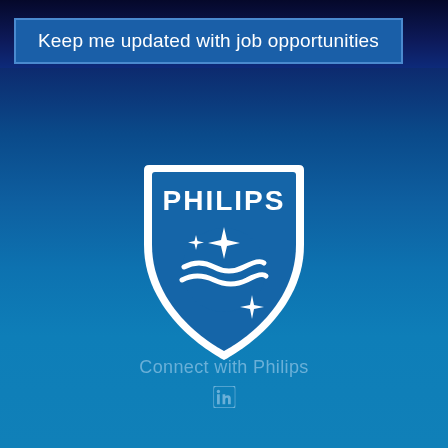Keep me updated with job opportunities
[Figure (logo): Philips shield logo with star and wave motifs, white on blue background, with PHILIPS text]
Connect with Philips